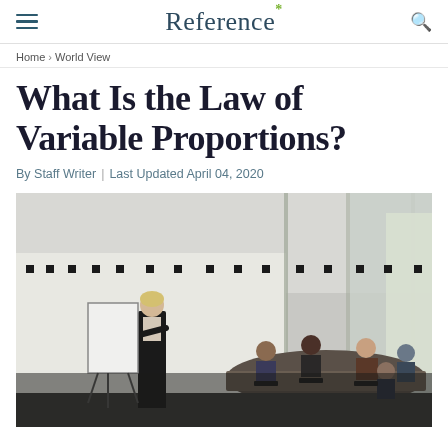Reference*
Home › World View
What Is the Law of Variable Proportions?
By Staff Writer | Last Updated April 04, 2020
[Figure (photo): A woman in a business suit presenting at a flip chart to a group of people seated around a conference table in a modern office with glass walls.]